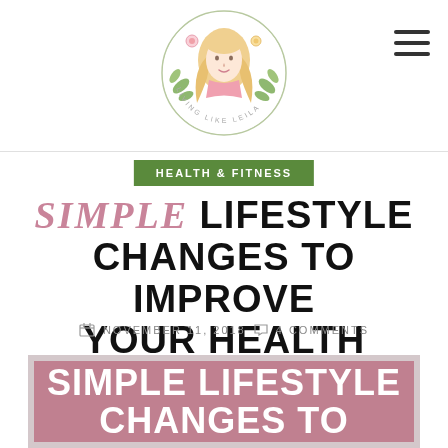[Figure (logo): Circular illustrated logo of a woman with long blonde hair, flowers, and leaves. Text reads 'Living Like Leila' around the circle.]
HEALTH & FITNESS
SIMPLE LIFESTYLE CHANGES TO IMPROVE YOUR HEALTH
NOVEMBER 11, 2018  4 COMMENTS
[Figure (illustration): Featured image with mauve/dusty rose background and white bold text reading 'SIMPLE LIFESTYLE CHANGES TO' (partially visible)]